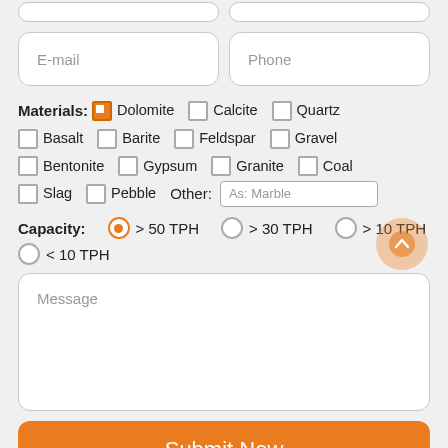[Figure (screenshot): Web form with email and phone input fields, material checkboxes (Dolomite checked, Calcite, Quartz, Basalt, Barite, Feldspar, Gravel, Bentonite, Gypsum, Granite, Coal, Slag, Pebble, Other field), capacity radio buttons (>50 TPH selected, >30 TPH, >10 TPH, <10 TPH), a message textarea, and a Submit Now button.]